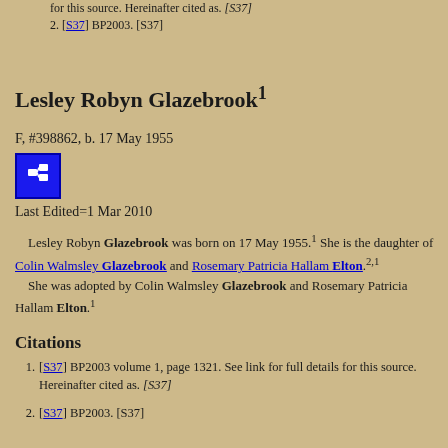for this source. Hereinafter cited as. [S37]
2. [S37] BP2003. [S37]
Lesley Robyn Glazebrook1
F, #398862, b. 17 May 1955
Last Edited=1 Mar 2010
Lesley Robyn Glazebrook was born on 17 May 1955.1 She is the daughter of Colin Walmsley Glazebrook and Rosemary Patricia Hallam Elton.2,1 She was adopted by Colin Walmsley Glazebrook and Rosemary Patricia Hallam Elton.1
Citations
1. [S37] BP2003 volume 1, page 1321. See link for full details for this source. Hereinafter cited as. [S37]
2. [S37] BP2003. [S37]